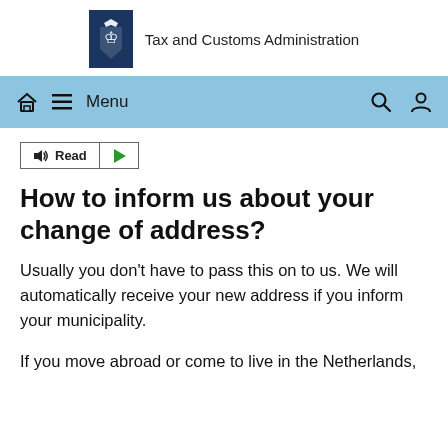[Figure (logo): Dutch Tax and Customs Administration logo: dark blue shield with royal coat of arms, next to text 'Tax and Customs Administration']
Tax and Customs Administration
Menu
[Figure (other): Read aloud button group with speaker icon and play button]
How to inform us about your change of address?
Usually you don't have to pass this on to us. We will automatically receive your new address if you inform your municipality.
If you move abroad or come to live in the Netherlands,